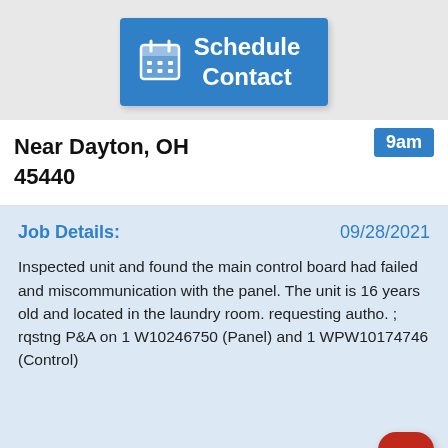[Figure (screenshot): Blue 'Schedule Contact' button with calendar icon]
Near Dayton, OH 45440
9am
Job Details:
09/28/2021
Inspected unit and found the main control board had failed and miscommunication with the panel. The unit is 16 years old and located in the laundry room. requesting autho. ; rqstng P&A on 1 W10246750 (Panel) and 1 WPW10174746 (Control)